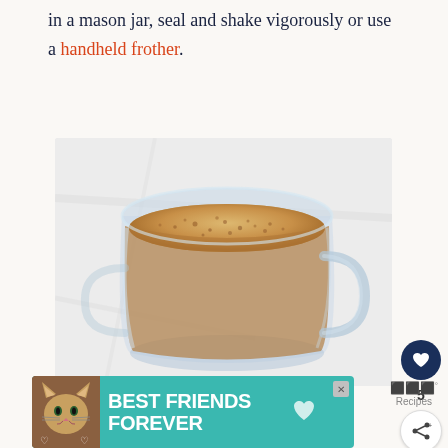in a mason jar, seal and shake vigorously or use a handheld frother.
[Figure (photo): Overhead view of a frothy golden-brown drink in a clear glass mug, sitting on a light marble surface.]
[Figure (other): Social action buttons: heart/save button (dark navy circle), count of 5, and share button.]
[Figure (other): Advertisement banner with teal background showing a cat photo and text BEST FRIENDS FOREVER with heart icons.]